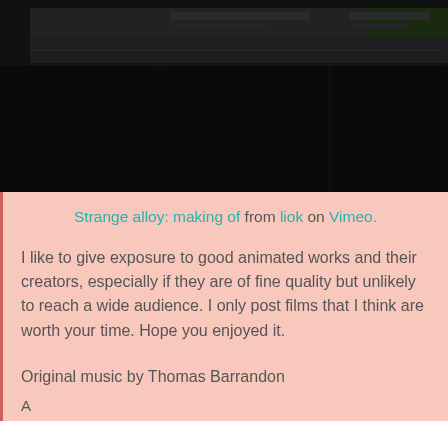[Figure (screenshot): Dark video thumbnail showing a dimly lit scene, appearing to be a film still or video preview for 'Strange alloy: making of']
Strange alloy: making of from liok on Vimeo.
I like to give exposure to good animated works and their creators, especially if they are of fine quality but unlikely to reach a wide audience. I only post films that I think are worth your time. Hope you enjoyed it.
Original music by Thomas Barrandon
(partially cut off text line)